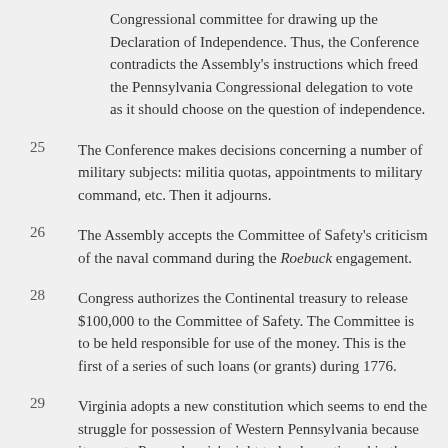Congressional committee for drawing up the Declaration of Independence. Thus, the Conference contradicts the Assembly's instructions which freed the Pennsylvania Congressional delegation to vote as it should choose on the question of independence.
25 The Conference makes decisions concerning a number of military subjects: militia quotas, appointments to military command, etc. Then it adjourns.
26 The Assembly accepts the Committee of Safety's criticism of the naval command during the Roebuck engagement.
28 Congress authorizes the Continental treasury to release $100,000 to the Committee of Safety. The Committee is to be held responsible for use of the money. This is the first of a series of such loans (or grants) during 1776.
29 Virginia adopts a new constitution which seems to end the struggle for possession of Western Pennsylvania because it accepts Pennsylvania's right to land mentioned in the provincial charter. Thus, the